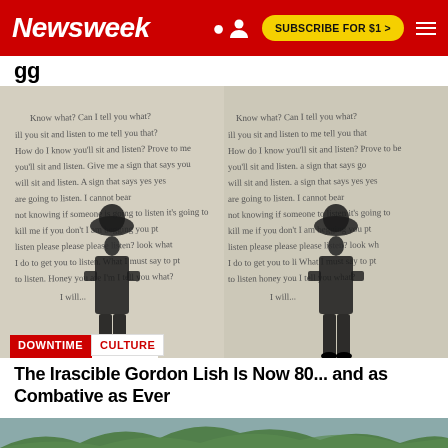Newsweek | SUBSCRIBE FOR $1 >
gg
[Figure (photo): Black and white diptych photo of a man in a cowboy hat and vest standing with his back to the camera, facing a wall covered in handwritten text. The image is repeated side by side.]
DOWNTIME  CULTURE
The Irascible Gordon Lish Is Now 80... and as Combative as Ever
[Figure (photo): Partial image of green tree branches against a grey sky at the bottom of the page.]